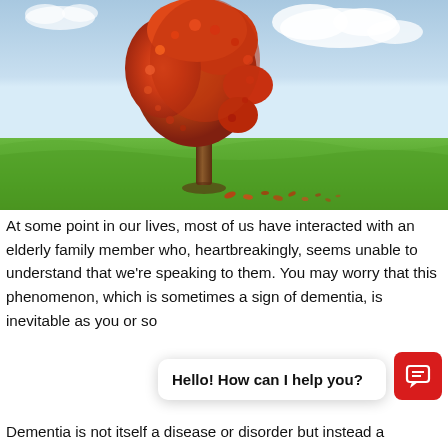[Figure (illustration): An artistic illustration of an autumn tree whose canopy is shaped like a human head profile in side view. The tree has orange and red leaves, a brown trunk, and fallen leaves scattered on the green grass below. The background shows a blue sky with white clouds.]
At some point in our lives, most of us have interacted with an elderly family member who, heartbreakingly, seems unable to understand that we're speaking to them. You may worry that this phenomenon, which is sometimes a sign of dementia, is inevitable as you or so
Hello! How can I help you?
Dementia is not itself a disease or disorder but instead a